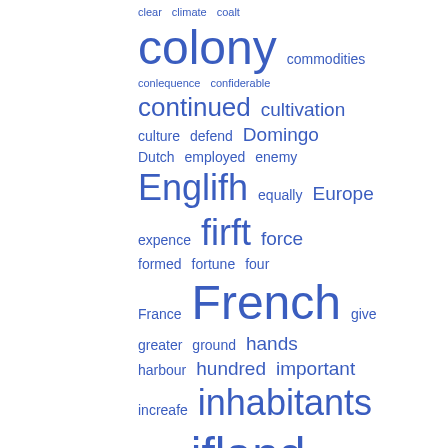[Figure (other): Word cloud (tag cloud) showing historical/colonial text terms in varying font sizes in blue. Larger words include: colony, French, English, ifland, land, inhabitants, firft. Smaller words include: clear, climate, coalt, commodities, conlequence, confiderable, continued, cultivation, culture, defend, Domingo, Dutch, employed, enemy, equally, Europe, expence, force, formed, fortune, four, France, give, greater, ground, hands, harbour, hundred, important, increafe, intereft, itfelf, kind, labour, laws, leagues, leaft, lefs, live, livres, manner, means, moft.]